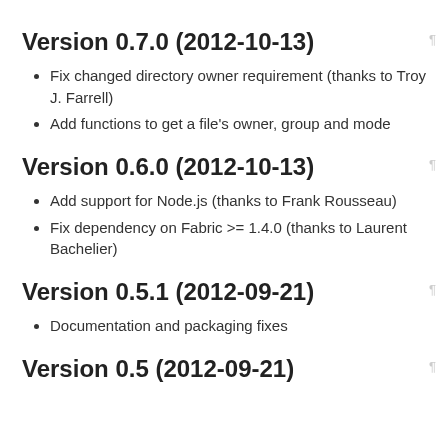Version 0.7.0 (2012-10-13)
Fix changed directory owner requirement (thanks to Troy J. Farrell)
Add functions to get a file's owner, group and mode
Version 0.6.0 (2012-10-13)
Add support for Node.js (thanks to Frank Rousseau)
Fix dependency on Fabric >= 1.4.0 (thanks to Laurent Bachelier)
Version 0.5.1 (2012-09-21)
Documentation and packaging fixes
Version 0.5 (2012-09-21)